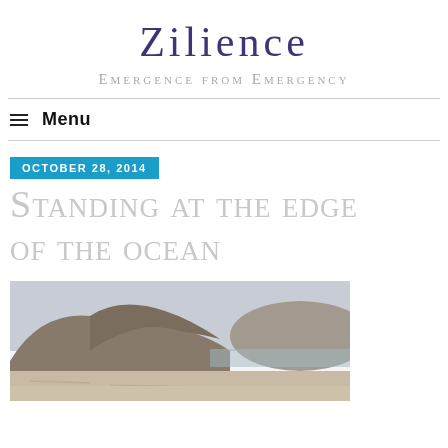Zilience
Emergence from Emergency
≡ Menu
OCTOBER 28, 2014
Standing at the edge of the ocean
[Figure (photo): Coastal cliff and sandy beach scene with blurred cliffs in the background and sandy foreground, overcast sky]